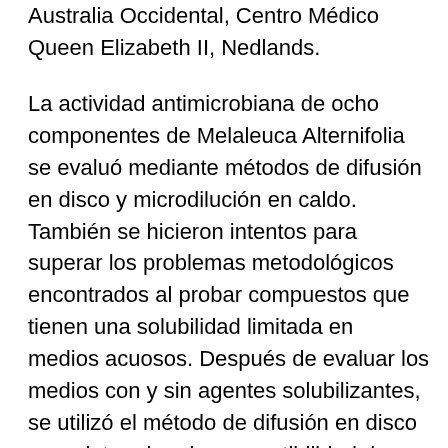Australia Occidental, Centro Médico Queen Elizabeth II, Nedlands.
La actividad antimicrobiana de ocho componentes de Melaleuca Alternifolia se evaluó mediante métodos de difusión en disco y microdilución en caldo. También se hicieron intentos para superar los problemas metodológicos encontrados al probar compuestos que tienen una solubilidad limitada en medios acuosos. Después de evaluar los medios con y sin agentes solubilizantes, se utilizó el método de difusión en disco para determinar la susceptibilidad de una variedad de microorganismos al 1,8-cineol, 1-terpinen-4-ol, rho-cymene, linalool, alfa-terpineno , gamma-terpineno, alfa-terpineol y terpinoleno. Si bien el método de difusión en disco carecía de reproducibilidad, se consideró útil como procedimiento para detectar actividad antimicrobiana. También se informaron...